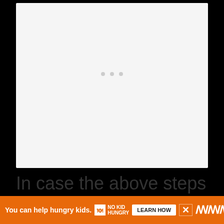[Figure (other): Large light gray/white box placeholder area with three small gray dots centered near the middle, suggesting a loading or video placeholder.]
In case the above steps fails to fix the problem then you will have to either wait f
[Figure (other): Orange advertisement banner at the bottom: 'You can help hungry kids.' with No Kid Hungry logo, LEARN HOW button, close X button, and WM degree logo on the right.]